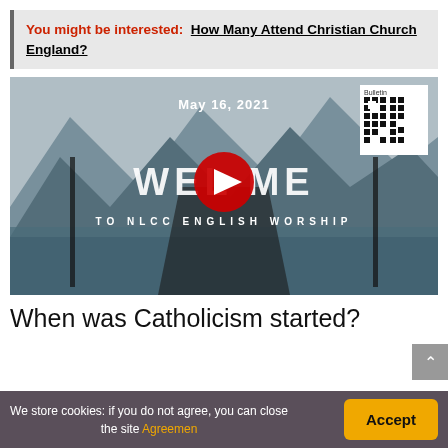You might be interested:  How Many Attend Christian Church England?
[Figure (screenshot): YouTube video thumbnail showing 'Welcome to NLCC English Worship' with date May 16, 2021, mountains and lake background, red YouTube play button, QR code labeled Bulletin in upper right corner]
When was Catholicism started?
We store cookies: if you do not agree, you can close the site Agreemen
Accept